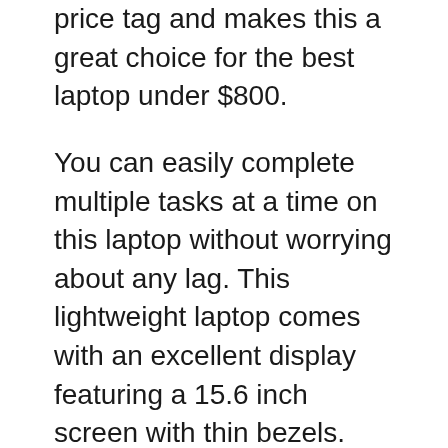price tag and makes this a great choice for the best laptop under $800.
You can easily complete multiple tasks at a time on this laptop without worrying about any lag. This lightweight laptop comes with an excellent display featuring a 15.6 inch screen with thin bezels.
Which provides a widescreen area for multi-tasking. And the display quality is also very great with full HD 1920×1080 resolution and crisp pixel density.
Acer here also provided a built-in fingerprint sensor with a precise and smooth touchpad. Coming to the keyboard, Acer features a full size keyboard with backlit keys. Overall, Acer